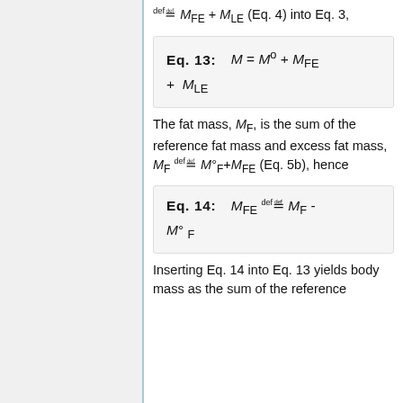≝ M_FE + M_LE (Eq. 4) into Eq. 3,
The fat mass, M_F, is the sum of the reference fat mass and excess fat mass, M_F ≝ M°_F+M_FE (Eq. 5b), hence
Inserting Eq. 14 into Eq. 13 yields body mass as the sum of the reference